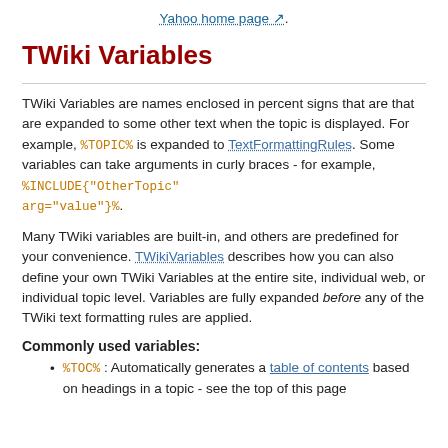Yahoo home page .
TWiki Variables
TWiki Variables are names enclosed in percent signs that are that are expanded to some other text when the topic is displayed. For example, %TOPIC% is expanded to TextFormattingRules. Some variables can take arguments in curly braces - for example, %INCLUDE{"OtherTopic" arg="value"}%.
Many TWiki variables are built-in, and others are predefined for your convenience. TWikiVariables describes how you can also define your own TWiki Variables at the entire site, individual web, or individual topic level. Variables are fully expanded before any of the TWiki text formatting rules are applied.
Commonly used variables:
%TOC% : Automatically generates a table of contents based on headings in a topic - see the top of this page